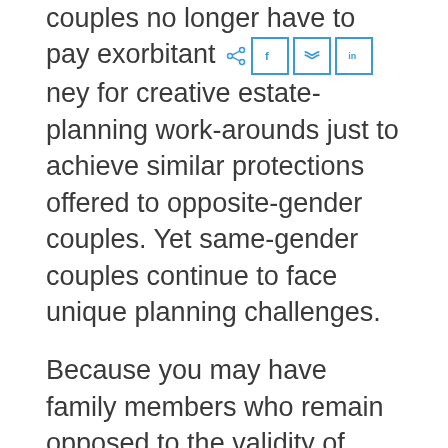couples no longer have to pay exorbitant money for creative estate-planning work-arounds just to achieve similar protections offered to opposite-gender couples. Yet same-gender couples continue to face unique planning challenges.
Because you may have family members who remain opposed to the validity of your marriage, same-gender couples' estate plans are often more vulnerable to dispute and even sabotage by unsupportive relatives. This could mean that family members are more likely to contest your wishes, or it might entail custody battles over non-